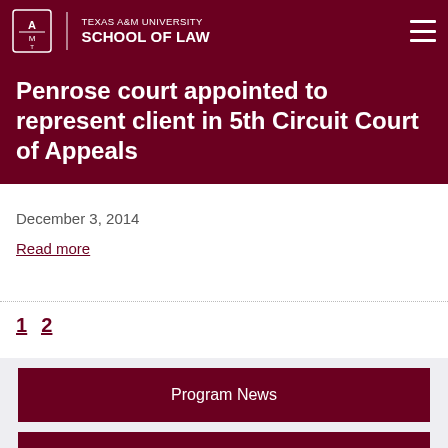TEXAS A&M UNIVERSITY SCHOOL OF LAW
Penrose court appointed to represent client in 5th Circuit Court of Appeals
December 3, 2014
Read more
1  2
Program News
In the Media